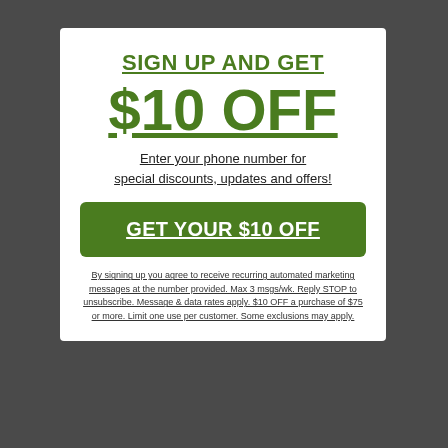SIGN UP AND GET
$10 OFF
Enter your phone number for special discounts, updates and offers!
GET YOUR $10 OFF
By signing up you agree to receive recurring automated marketing messages at the number provided. Max 3 msgs/wk. Reply STOP to unsubscribe. Message & data rates apply. $10 OFF a purchase of $75 or more. Limit one use per customer. Some exclusions may apply.